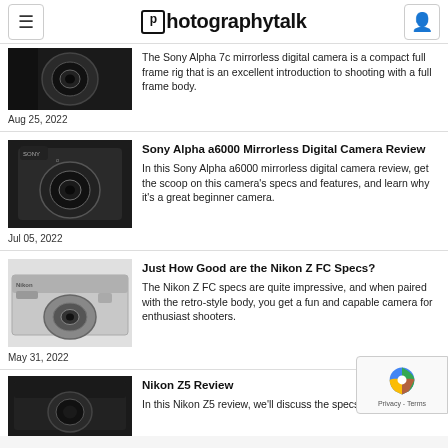photographytalk
The Sony Alpha 7c mirrorless digital camera is a compact full frame rig that is an excellent introduction to shooting with a full frame body.
Aug 25, 2022
Sony Alpha a6000 Mirrorless Digital Camera Review
In this Sony Alpha a6000 mirrorless digital camera review, get the scoop on this camera's specs and features, and learn why it's a great beginner camera.
Jul 05, 2022
Just How Good are the Nikon Z FC Specs?
The Nikon Z FC specs are quite impressive, and when paired with the retro-style body, you get a fun and capable camera for enthusiast shooters.
May 31, 2022
Nikon Z5 Review
In this Nikon Z5 review, we'll discuss the specs, features, pros, and cons of this enthusiast-level camera. We'll also...